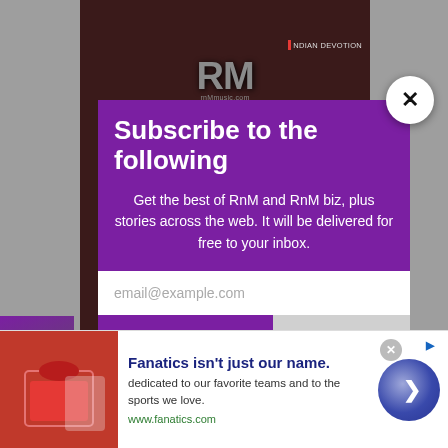[Figure (screenshot): Website background showing RnM (RnMmusic.com) dark maroon themed website with RM logo and NDIAN DEVOTION branding in top right]
Subscribe to the following
Get the best of RnM and RnM biz, plus stories across the web. It will be delivered for free to your inbox.
email@example.com
SUBSCRIBE
[Figure (screenshot): Games and Infolinks advertisement badge on the left side]
[Figure (screenshot): Bottom advertisement bar: Fanatics isn't just our name. dedicated to our favorite teams and to the sports we love. www.fanatics.com]